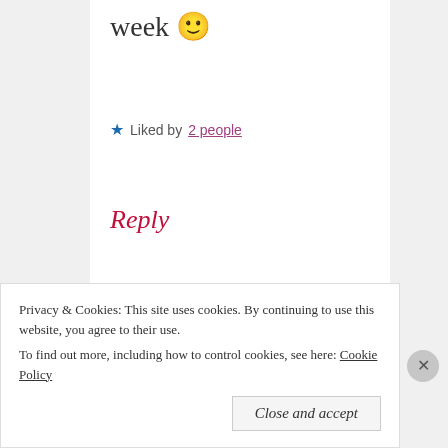week 🙂
★ Liked by 2 people
Reply
Advertisements
[Figure (illustration): Advertisement banner showing social media logos (Meta, Facebook) and magazine covers with text 'We're the WordPress CMS for Very Important']
Privacy & Cookies: This site uses cookies. By continuing to use this website, you agree to their use. To find out more, including how to control cookies, see here: Cookie Policy
Close and accept